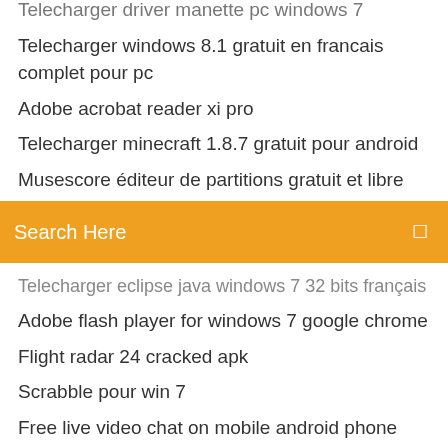Telecharger driver manette pc windows 7
Telecharger windows 8.1 gratuit en francais complet pour pc
Adobe acrobat reader xi pro
Telecharger minecraft 1.8.7 gratuit pour android
Musescore éditeur de partitions gratuit et libre
Search Here
Telecharger eclipse java windows 7 32 bits français
Adobe flash player for windows 7 google chrome
Flight radar 24 cracked apk
Scrabble pour win 7
Free live video chat on mobile android phone
Comment transformer une video en mp4
Regarder bfmtv en direct gratuitement
Plants vs zombies jeux gratuit en ligne
Télécharger windows media player gratis
Comment jouer a prop hunt sur garrys mod